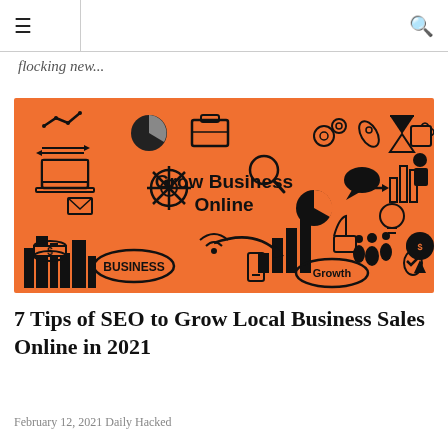≡  [search icon]
flocking new...
[Figure (illustration): Orange background infographic with black icons representing business and online growth concepts: laptop, gears, briefcase, rocket, chart, pie chart, bar chart, thumbs up, people, phone, WiFi, city skyline, dollar sign, speech bubble, lightbulb, magnifying glass, arrows, and central text reading 'Grow Business Online'. Bottom text ovals: 'BUSINESS' and 'Growth'.]
7 Tips of SEO to Grow Local Business Sales Online in 2021
February 12, 2021 Daily Hacked